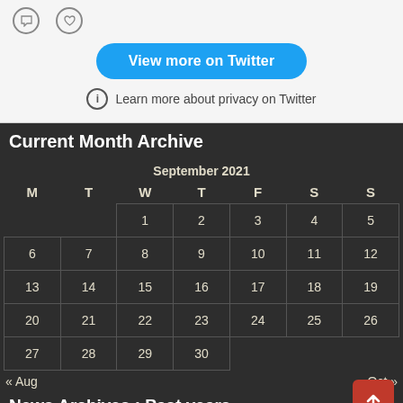[Figure (screenshot): Twitter widget with comment and heart icons, a blue 'View more on Twitter' button, and a privacy info line]
Current Month Archive
| M | T | W | T | F | S | S |
| --- | --- | --- | --- | --- | --- | --- |
|  |  | 1 | 2 | 3 | 4 | 5 |
| 6 | 7 | 8 | 9 | 10 | 11 | 12 |
| 13 | 14 | 15 | 16 | 17 | 18 | 19 |
| 20 | 21 | 22 | 23 | 24 | 25 | 26 |
| 27 | 28 | 29 | 30 |  |  |  |
« Aug    Oct »
News Archives : Past years